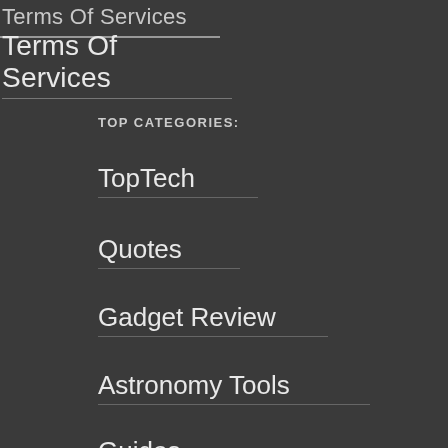Terms Of Services
TOP CATEGORIES:
TopTech
Quotes
Gadget Review
Astronomy Tools
Guides
How-To